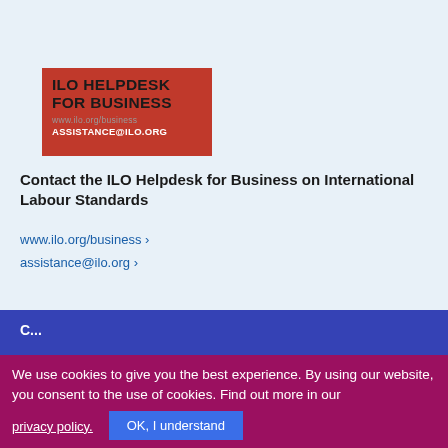[Figure (logo): ILO Helpdesk for Business logo — red background with text: ILO HELPDESK FOR BUSINESS, www.ilo.org/business, assistance@ilo.org]
Contact the ILO Helpdesk for Business on International Labour Standards
www.ilo.org/business ›
assistance@ilo.org ›
C...
We use cookies to give you the best experience. By using our website, you consent to the use of cookies. Find out more in our
privacy policy.
OK, I understand